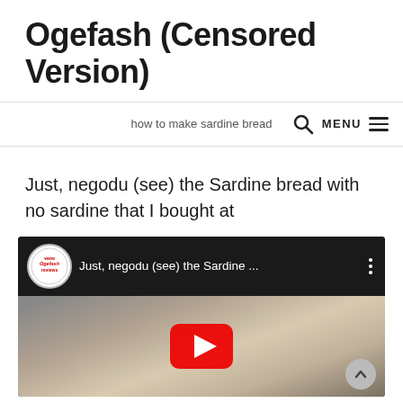Ogefash (Censored Version)
how to make sardine bread
Just, negodu (see) the Sardine bread with no sardine that I bought at
[Figure (screenshot): Embedded YouTube video thumbnail showing sardine bread with a YouTube play button overlay. Video title: 'Just, negodu (see) the Sardine ...' with channel badge showing 'www Ogefash reviews'.]